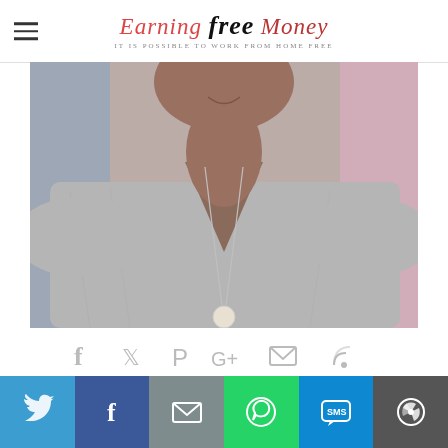Earning Free Money — IT IS POSSIBLE TO WORK FROM HOME FREE
[Figure (photo): Photo of a woman from Atlanta, Georgia, smiling, wearing a grey v-neck t-shirt and a long necklace with a round pendant, colorful blurred background]
[Figure (infographic): Row of social media icon links: Facebook, Twitter, Pinterest, Google+, Email, RSS]
I'm Louida from Atlanta, Georgia and I'm a mother
[Figure (infographic): Bottom share bar with buttons: Twitter (blue), Facebook (dark blue), Email/Mail (grey), WhatsApp (green), SMS (blue), More (dark grey)]